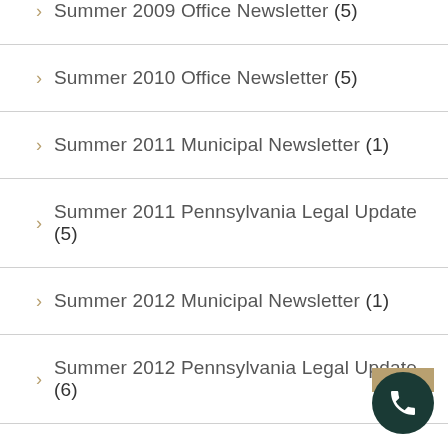Summer 2009 Office Newsletter (5)
Summer 2010 Office Newsletter (5)
Summer 2011 Municipal Newsletter (1)
Summer 2011 Pennsylvania Legal Update (5)
Summer 2012 Municipal Newsletter (1)
Summer 2012 Pennsylvania Legal Update (6)